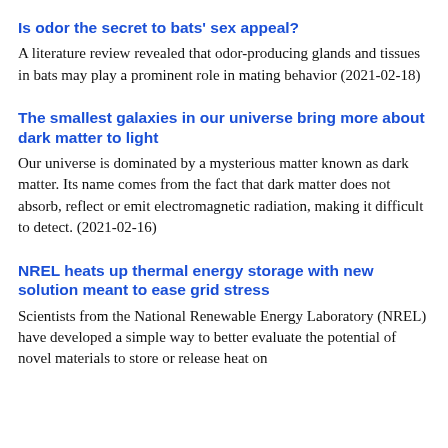Is odor the secret to bats' sex appeal?
A literature review revealed that odor-producing glands and tissues in bats may play a prominent role in mating behavior (2021-02-18)
The smallest galaxies in our universe bring more about dark matter to light
Our universe is dominated by a mysterious matter known as dark matter. Its name comes from the fact that dark matter does not absorb, reflect or emit electromagnetic radiation, making it difficult to detect. (2021-02-16)
NREL heats up thermal energy storage with new solution meant to ease grid stress
Scientists from the National Renewable Energy Laboratory (NREL) have developed a simple way to better evaluate the potential of novel materials to store or release heat on